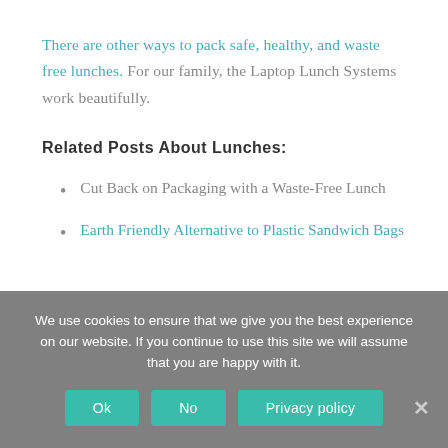There are other ways to pack safe, healthy, and waste free lunches. For our family, the Laptop Lunch Systems work beautifully.
Related Posts About Lunches:
Cut Back on Packaging with a Waste-Free Lunch
Earth Friendly Alternative to Plastic Sandwich Bags
We use cookies to ensure that we give you the best experience on our website. If you continue to use this site we will assume that you are happy with it.